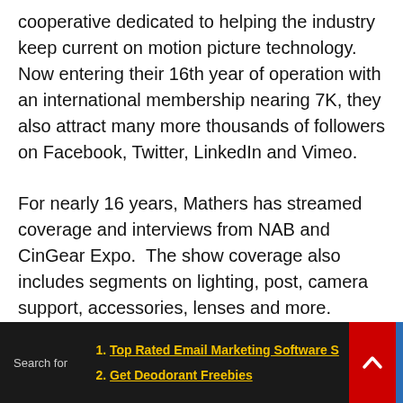cooperative dedicated to helping the industry keep current on motion picture technology. Now entering their 16th year of operation with an international membership nearing 7K, they also attract many more thousands of followers on Facebook, Twitter, LinkedIn and Vimeo.
For nearly 16 years, Mathers has streamed coverage and interviews from NAB and CinGear Expo. The show coverage also includes segments on lighting, post, camera support, accessories, lenses and more.
In addition to shows that cover motion picture production and post, they recently held an event on indie film finance and distribution which has also
Search for  1. Top Rated Email Marketing Software S  2. Get Deodorant Freebies